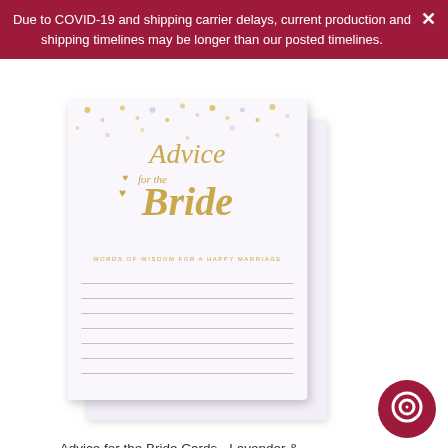Due to COVID-19 and shipping carrier delays, current production and shipping timelines may be longer than our posted timelines.
[Figure (illustration): Product image showing two stacked 'Advice for the Bride' cards with lavender and gold confetti design. Cards read 'Advice for the Bride - Words of Wisdom for a Happy Marriage' with writing lines below.]
Advice for the Bride Cards - Lavender & Gold Confetti
from $26.95